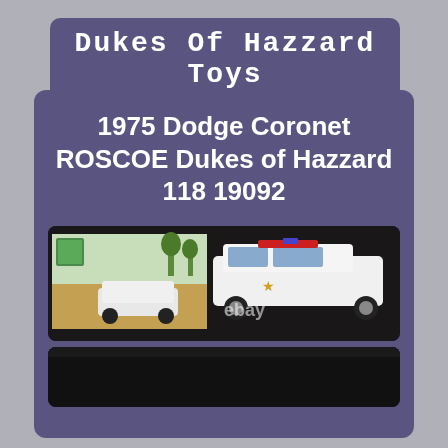Dukes Of Hazzard Toys
1975 Dodge Coronet ROSCOE Dukes of Hazzard 118 19092
[Figure (photo): Product photo showing a 1975 Dodge Coronet Roscoe Dukes of Hazzard 1:18 scale die-cast model car in white police livery with a sheriff star, alongside its product box. An eBay watermark is visible. Below is a second partially visible photo on a dark background.]